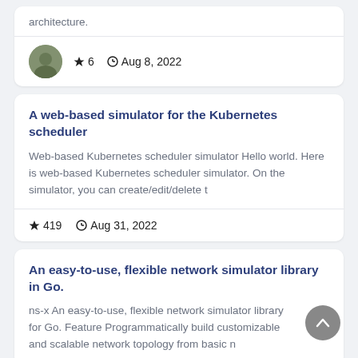architecture.
★ 6   Aug 8, 2022
A web-based simulator for the Kubernetes scheduler
Web-based Kubernetes scheduler simulator Hello world. Here is web-based Kubernetes scheduler simulator. On the simulator, you can create/edit/delete t
★ 419   Aug 31, 2022
An easy-to-use, flexible network simulator library in Go.
ns-x An easy-to-use, flexible network simulator library for Go. Feature Programmatically build customizable and scalable network topology from basic n